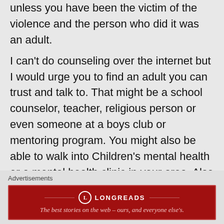unless you have been the victim of the violence and the person who did it was an adult.
I can't do counseling over the internet but I would urge you to find an adult you can trust and talk to. That might be a school counselor, teacher, religious person or even someone at a boys club or mentoring program. You might also be able to walk into Children's mental health or a mental health clinic in your area. Also check your local listings, there should be a local A.A. or N.A meeting and some of those meeting
Advertisements
[Figure (other): Longreads advertisement banner: red background with Longreads logo and tagline 'The best stories on the web – ours, and everyone else's.']